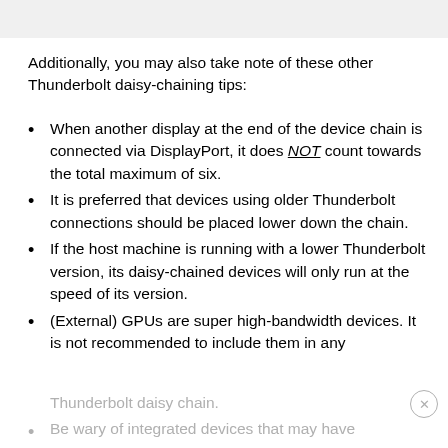Additionally, you may also take note of these other Thunderbolt daisy-chaining tips:
When another display at the end of the device chain is connected via DisplayPort, it does NOT count towards the total maximum of six.
It is preferred that devices using older Thunderbolt connections should be placed lower down the chain.
If the host machine is running with a lower Thunderbolt version, its daisy-chained devices will only run at the speed of its version.
(External) GPUs are super high-bandwidth devices. It is not recommended to include them in any
Thunderbolt daisy chain.
Be wary of integrated devices that may have